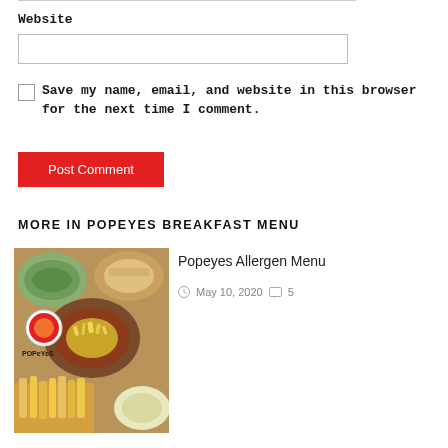Website
Save my name, email, and website in this browser for the next time I comment.
Post Comment
MORE IN POPEYES BREAKFAST MENU
[Figure (photo): Photo of Popeyes food items including bowls with chili, mac and cheese, and french fries with the Popeyes logo visible]
Popeyes Allergen Menu
May 10, 2020  5